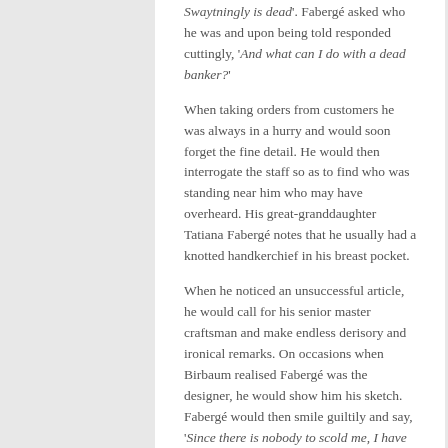'Swaytningly is dead'. Fabergé asked who he was and upon being told responded cuttingly, 'And what can I do with a dead banker?'
When taking orders from customers he was always in a hurry and would soon forget the fine detail. He would then interrogate the staff so as to find who was standing near him who may have overheard. His great-granddaughter Tatiana Fabergé notes that he usually had a knotted handkerchief in his breast pocket.
When he noticed an unsuccessful article, he would call for his senior master craftsman and make endless derisory and ironical remarks. On occasions when Birbaum realised Fabergé was the designer, he would show him his sketch. Fabergé would then smile guiltily and say, 'Since there is nobody to scold me, I have had to do it myself'. From Birbaum